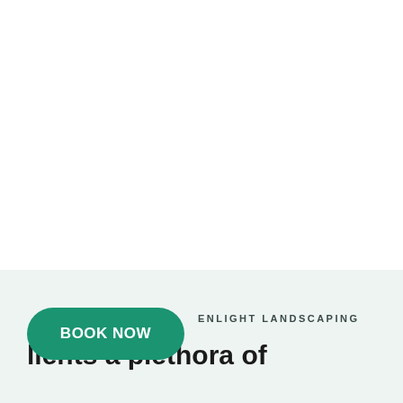[Figure (illustration): White blank upper section of a landscaping company webpage]
ENLIGHT LANDSCAPING
lients a plethora of
BOOK NOW